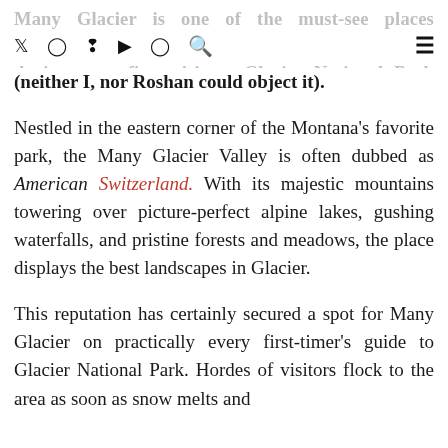Many Glacier is one of the must-see places during your first visit to Glacier National Park (neither I, nor Roshan could object it).
Nestled in the eastern corner of the Montana's favorite park, the Many Glacier Valley is often dubbed as American Switzerland. With its majestic mountains towering over picture-perfect alpine lakes, gushing waterfalls, and pristine forests and meadows, the place displays the best landscapes in Glacier.
This reputation has certainly secured a spot for Many Glacier on practically every first-timer's guide to Glacier National Park. Hordes of visitors flock to the area as soon as snow melts and